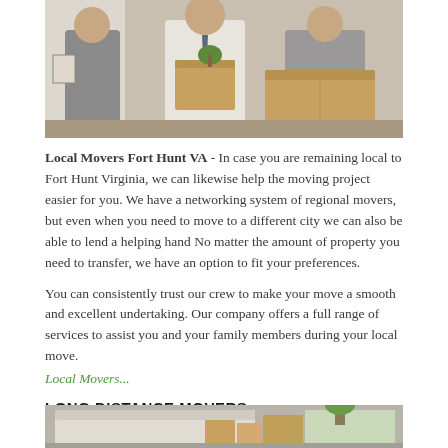[Figure (photo): Office workers holding moving boxes, preparing for a move]
Local Movers Fort Hunt VA - In case you are remaining local to Fort Hunt Virginia, we can likewise help the moving project easier for you. We have a networking system of regional movers, but even when you need to move to a different city we can also be able to lend a helping hand No matter the amount of property you need to transfer, we have an option to fit your preferences.
You can consistently trust our crew to make your move a smooth and excellent undertaking. Our company offers a full range of services to assist you and your family members during your local move.
Local Movers...
LONG DISTANCE MOVERS
[Figure (photo): Moving truck or van loaded with boxes and furniture for long distance move]